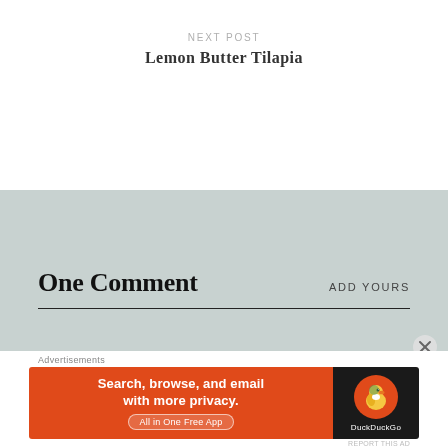NEXT POST
Lemon Butter Tilapia
One Comment
ADD YOURS
Advertisements
[Figure (screenshot): DuckDuckGo advertisement banner: orange left panel with text 'Search, browse, and email with more privacy. All in One Free App', dark right panel with DuckDuckGo duck logo and brand name.]